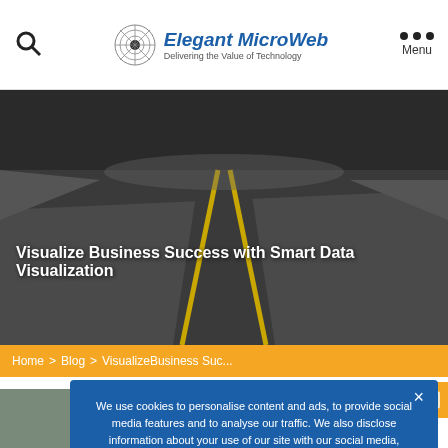Elegant MicroWeb – Delivering the Value of Technology
[Figure (photo): Dark asphalt road receding into the distance with yellow center lines, dark sky background]
Visualize Business Success with Smart Data Visualization
Home > Blog > VisualizeBusiness Suc...
[Figure (photo): Red gift box with golden ribbon and bow held by a hand against a grey-green background]
We use cookies to personalise content and ads, to provide social media features and to analyse our traffic. We also disclose information about your use of our site with our social media, advertising and analytics partners.
Can your eyes be smart? This might seem like a silly